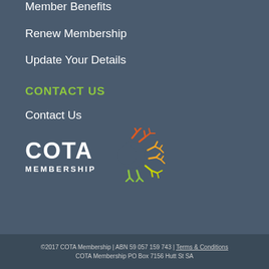Member Benefits
Renew Membership
Update Your Details
CONTACT US
Contact Us
[Figure (logo): COTA Membership logo — text 'COTA' in large white bold letters, 'MEMBERSHIP' in smaller white letters below, with a decorative circular sun/coral graphic in orange, yellow, and green to the right]
©2017 COTA Membership | ABN 59 057 159 743 | Terms & Conditions
COTA Membership PO Box 7156 Hutt St SA